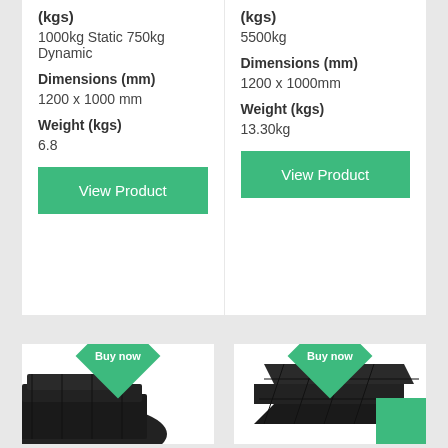(kgs)
1000kg Static 750kg Dynamic
Dimensions (mm)
1200 x 1000 mm
Weight (kgs)
6.8
(kgs)
5500kg
Dimensions (mm)
1200 x 1000mm
Weight (kgs)
13.30kg
View Product
View Product
[Figure (photo): Black plastic pallet viewed from above at angle, partial view at bottom left]
[Figure (photo): Black plastic pallet with grid pattern viewed from above at angle, with green corner badge]